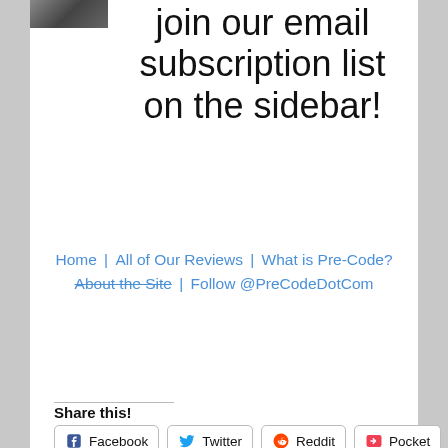[Figure (photo): Small thumbnail photo of a person, dark/grayscale image]
join our email subscription list on the sidebar!
Home | All of Our Reviews | What is Pre-Code? About the Site | Follow @PreCodeDotCom
Share this!
Facebook  Twitter  Reddit  Pocket
Like this:
Like
Be the first to like this.